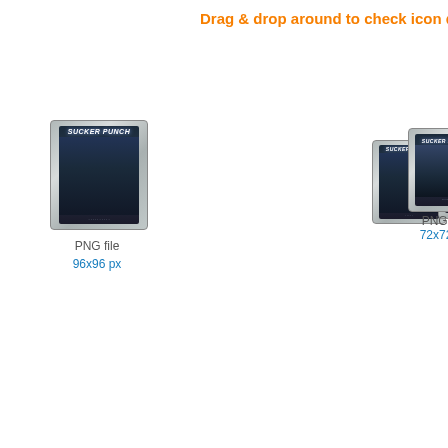Drag & drop around to check icon qualit…
[Figure (illustration): DVD case icon for Sucker Punch, PNG file 96x96 px]
PNG file
96x96 px
[Figure (illustration): DVD case icon for Sucker Punch, PNG file 72x72 px]
PNG file
72x72 px
[Figure (illustration): DVD case icon for Sucker Punch, PNG file 64x64 px]
PNG file
64x64 px
[Figure (illustration): DVD case icon for Sucker Punch, PNG file 48x48 px]
PNG file
48x48 px
[Figure (illustration): DVD case icon for Sucker Punch, PNG file 128x128 px (large, lower half of page)]
PNG file
128x128 px
[Figure (illustration): DVD case icon for Sucker Punch, very large (256px+), partially cropped on right side]